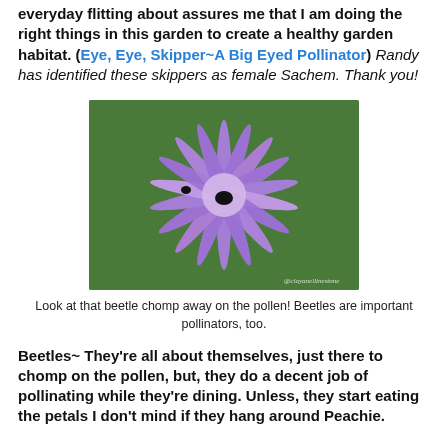everyday flitting about assures me that I am doing the right things in this garden to create a healthy garden habitat. (Eye, Eye, Skipper~A Big Eyed Pollinator) Randy has identified these skippers as female Sachem. Thank you!
[Figure (photo): Close-up photo of a purple spiky aster-like flower with beetles visible on it, set against green foliage background. Watermark reads @clayanellinestone]
Look at that beetle chomp away on the pollen! Beetles are important pollinators, too.
Beetles~ They're all about themselves, just there to chomp on the pollen, but, they do a decent job of pollinating while they're dining. Unless, they start eating the petals I don't mind if they hang around Peachie.